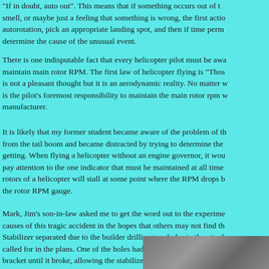"If in doubt, auto out". This means that if something occurs out of the ordinary, a smell, or maybe just a feeling that something is wrong, the first action should be to enter autorotation, pick an appropriate landing spot, and then if time permits, attempt to determine the cause of the unusual event.
There is one indisputable fact that every helicopter pilot must be aware of; you must maintain main rotor RPM. The first law of helicopter flying is "Those who keep RPM, live." is not a pleasant thought but it is an aerodynamic reality. No matter what the situation, it is the pilot's foremost responsibility to maintain the main rotor rpm within the range set by the manufacturer.
It is likely that my former student became aware of the problem of the stabilizer separating from the tail boom and became distracted by trying to determine the cause of what was getting. When flying a helicopter without an engine governor, it would be very important to pay attention to the one indicator that must be maintained at all times — the main rotor. The rotors of a helicopter will stall at some point where the RPM drops below a certain level. Watch the rotor RPM gauge.
Mark, Jim's son-in-law asked me to get the word out to the experimental community about the causes of this tragic accident in the hopes that others may not find themselves in the same. Stabilizer separated due to the builder drilling two holes in the attachment bracket rather than called for in the plans. One of the holes had a sharp nick on it where the bolt fatigued the bracket until it broke, allowing the stabilizer to depart the ship. See t
[Figure (photo): A dark photographic image, partially visible at the bottom right of the page, showing what appears to be mechanical or aircraft components.]